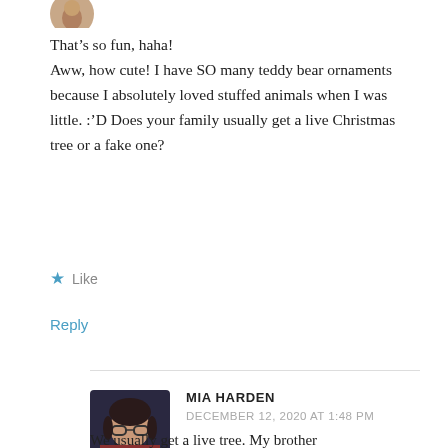[Figure (photo): Partial circular avatar image at top of page]
That's so fun, haha!
Aww, how cute! I have SO many teddy bear ornaments because I absolutely loved stuffed animals when I was little. :'D Does your family usually get a live Christmas tree or a fake one?
★ Like
Reply
[Figure (photo): Profile photo of Mia Harden, a young woman with glasses and dark hair, wearing a red top, against a dark background]
MIA HARDEN
DECEMBER 12, 2020 AT 1:48 PM
We usually get a live tree. My brother